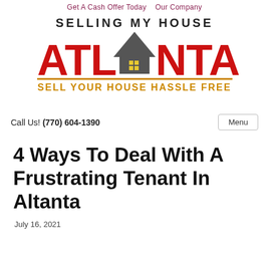Get A Cash Offer Today   Our Company
[Figure (logo): Selling My House Atlanta logo with red ATLANTA text, house roofline graphic, and yellow tagline SELL YOUR HOUSE HASSLE FREE]
Call Us! (770) 604-1390
Menu
4 Ways To Deal With A Frustrating Tenant In Altanta
July 16, 2021